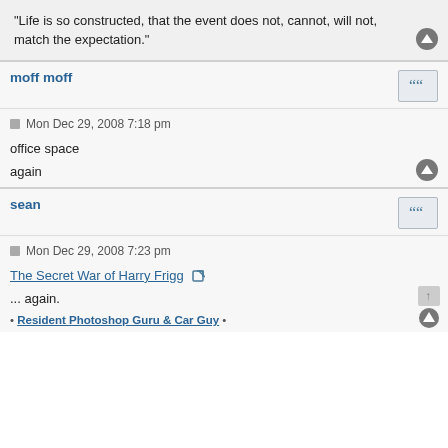"Life is so constructed, that the event does not, cannot, will not, match the expectation."
moff moff
Mon Dec 29, 2008 7:18 pm
office space

again
sean
Mon Dec 29, 2008 7:23 pm
The Secret War of Harry Frigg
... again.
• Resident Photoshop Guru & Car Guy •